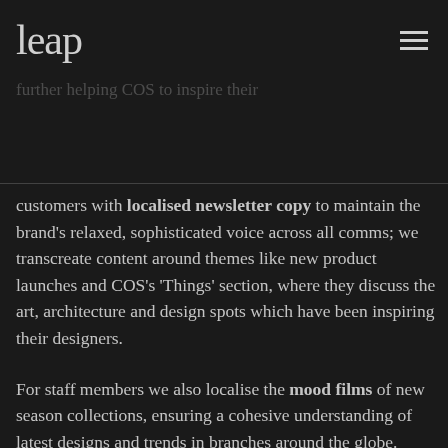leap [logo] [hamburger menu]
branches in over a dozen different countries to ensure brand messaging, clear navigation and custom services guidance, including the brand's launch in Slovenia. We are further helping COS to inspire their customers with localised newsletter copy to maintain the brand's relaxed, sophisticated voice across all comms; we transcreate content around themes like new product launches and COS's 'Things' section, where they discuss the art, architecture and design spots which have been inspiring their designers.
For staff members we also localise the mood films of new season collections, ensuring a cohesive understanding of latest designs and trends in branches around the globe. Finally, we also provide ad hoc language support services such as shaping the specific brand voice for COS's launch in Korea. This included brand guideline documentation, partner brand guidelines and market